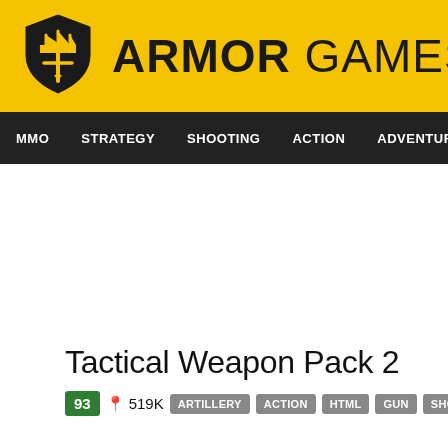[Figure (logo): Armor Games logo with yellow background, shield icon and bold text ARMOR GAMES]
MMO  STRATEGY  SHOOTING  ACTION  ADVENTURE  P
Tactical Weapon Pack 2
93  519K  ARTILLERY  ACTION  HTML  GUN  SHOOTING